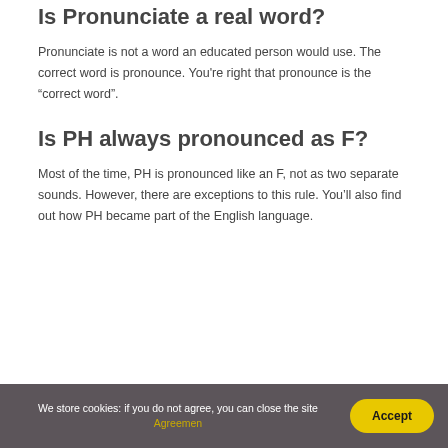Is Pronunciate a real word?
Pronunciate is not a word an educated person would use. The correct word is pronounce. You're right that pronounce is the “correct word”.
Is PH always pronounced as F?
Most of the time, PH is pronounced like an F, not as two separate sounds. However, there are exceptions to this rule. You’ll also find out how PH became part of the English language.
We store cookies: if you do not agree, you can close the site Agreemen  Accept